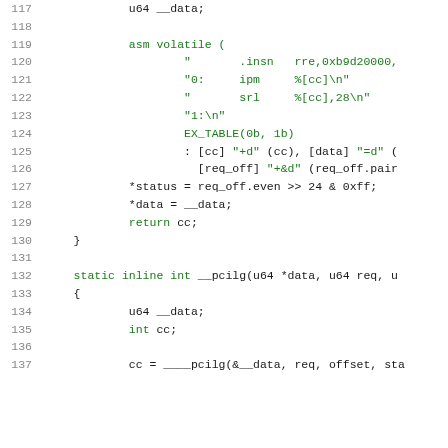Code listing lines 117-137 showing C inline assembly and static inline function __pcilg
117    u64 __data;
118
119    asm volatile (
120        "    .insn    rre,0xb9d20000,
121        "0:  ipm     %[cc]\n"
122        "    srl     %[cc],28\n"
123        "1:\n"
124        EX_TABLE(0b, 1b)
125        : [cc] "+d" (cc), [data] "=d" (
126          [req_off] "+&d" (req_off.pair
127    *status = req_off.even >> 24 & 0xff;
128    *data = __data;
129    return cc;
130  }
131
132  static inline int __pcilg(u64 *data, u64 req, u
133  {
134        u64 __data;
135        int cc;
136
137        cc = ____pcilg(&__data, req, offset, sta